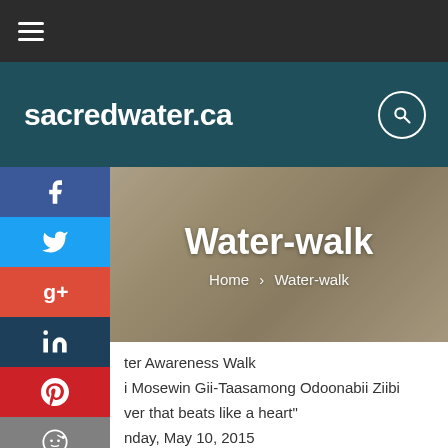≡ (hamburger menu icon)
sacredwater.ca
[Figure (screenshot): Hero banner with laptop on tray background image]
Water-walk
Home > Water-walk
[Figure (infographic): Social media share sidebar with Facebook, Twitter, Google+, LinkedIn, Pinterest, Reddit, StumbleUpon, and Email buttons]
ter Awareness Walk
i Mosewin Gii-Taasamong Odoonabii Ziibi
ver that beats like a heart"
nday, May 10, 2015